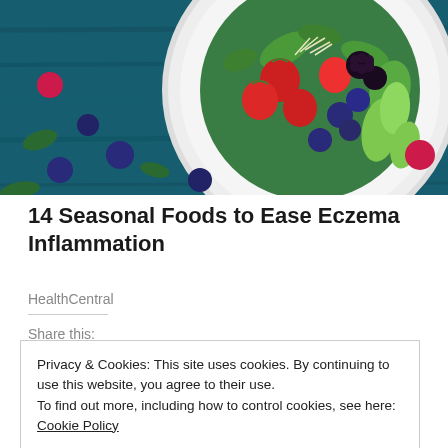[Figure (photo): A white plate filled with colorful fresh fruits and vegetables including strawberries, blueberries, blackberries, raspberries, green leafy herbs, avocado slices, and sprouts, placed on a blue wooden surface with scattered berries and leaves around it.]
14 Seasonal Foods to Ease Eczema Inflammation
HealthCentral
Share this:
Privacy & Cookies: This site uses cookies. By continuing to use this website, you agree to their use.
To find out more, including how to control cookies, see here: Cookie Policy